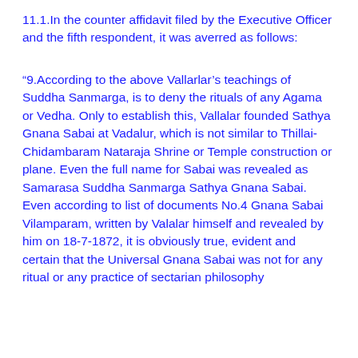11.1.In the counter affidavit filed by the Executive Officer and the fifth respondent, it was averred as follows:
“9.According to the above Vallarlar’s teachings of Suddha Sanmarga, is to deny the rituals of any Agama or Vedha. Only to establish this, Vallalar founded Sathya Gnana Sabai at Vadalur, which is not similar to Thillai-Chidambaram Nataraja Shrine or Temple construction or plane. Even the full name for Sabai was revealed as Samarasa Suddha Sanmarga Sathya Gnana Sabai. Even according to list of documents No.4 Gnana Sabai Vilamparam, written by Valalar himself and revealed by him on 18-7-1872, it is obviously true, evident and certain that the Universal Gnana Sabai was not for any ritual or any practice of sectarian philosophy